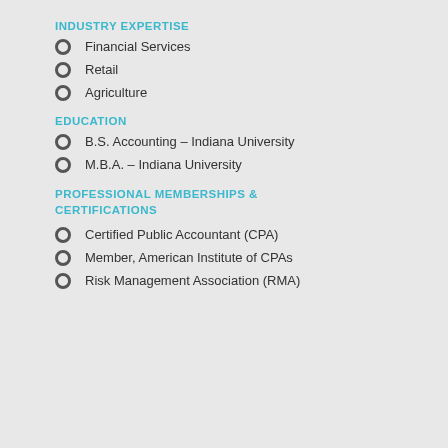INDUSTRY EXPERTISE
Financial Services
Retail
Agriculture
EDUCATION
B.S. Accounting – Indiana University
M.B.A. – Indiana University
PROFESSIONAL MEMBERSHIPS & CERTIFICATIONS
Certified Public Accountant (CPA)
Member, American Institute of CPAs
Risk Management Association (RMA)